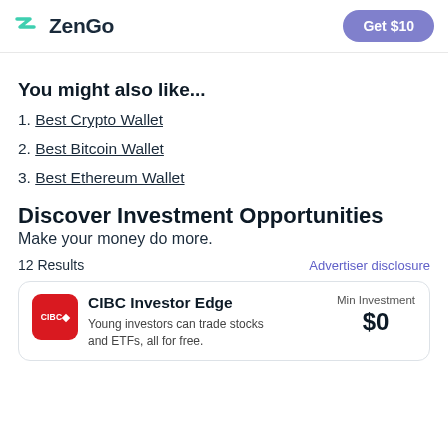ZenGo | Get $10
You might also like...
1. Best Crypto Wallet
2. Best Bitcoin Wallet
3. Best Ethereum Wallet
Discover Investment Opportunities
Make your money do more.
12 Results    Advertiser disclosure
CIBC Investor Edge
Young investors can trade stocks and ETFs, all for free.
Min Investment $0